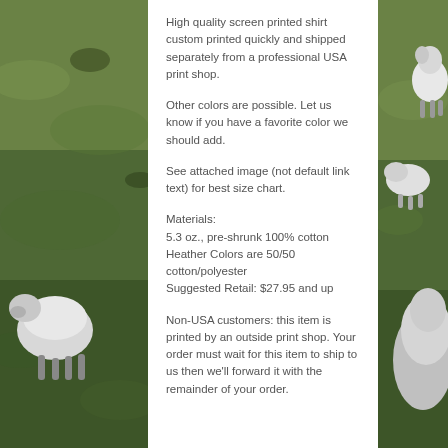[Figure (photo): Background photo of sheep/alpacas grazing on green hillside, split behind left and right sides of a white content panel]
High quality screen printed shirt custom printed quickly and shipped separately from a professional USA print shop.
Other colors are possible. Let us know if you have a favorite color we should add.
See attached image (not default link text) for best size chart.
Materials:
5.3 oz., pre-shrunk 100% cotton
Heather Colors are 50/50 cotton/polyester
Suggested Retail: $27.95 and up
Non-USA customers: this item is printed by an outside print shop. Your order must wait for this item to ship to us then we'll forward it with the remainder of your order.